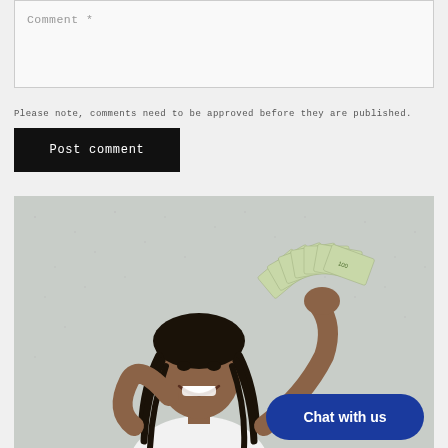Comment *
Please note, comments need to be approved before they are published.
Post comment
[Figure (photo): Young man with dreadlocks smiling and holding a fan of US dollar bills in front of him, standing against a light grey/white textured wall. A dark blue pill-shaped chat button with white text 'Chat with us' overlays the bottom-right of the image.]